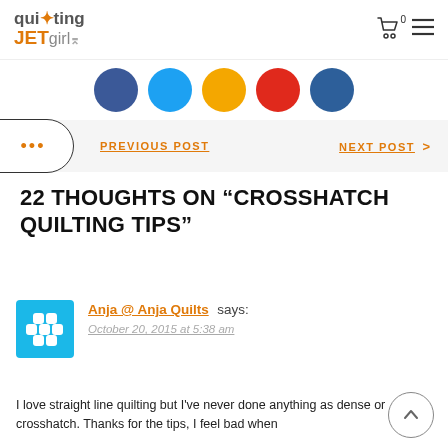quilting JETgirl
[Figure (illustration): Social media share buttons: Facebook (dark blue circle), Twitter (light blue circle), Google+ or orange circle, Pinterest (red circle), and another dark blue circle]
PREVIOUS POST   NEXT POST >
22 THOUGHTS ON “CROSSHATCH QUILTING TIPS”
Anja @ Anja Quilts says:
October 20, 2015 at 5:38 am
I love straight line quilting but I’ve never done anything as dense or crosshatch. Thanks for the tips, I feel bad when